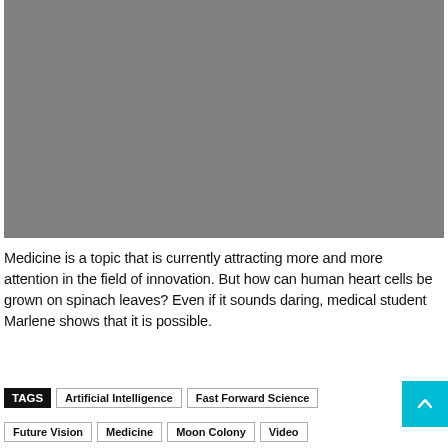[Figure (photo): Gray placeholder image occupying the top portion of the page]
Medicine is a topic that is currently attracting more and more attention in the field of innovation. But how can human heart cells be grown on spinach leaves? Even if it sounds daring, medical student Marlene shows that it is possible.
TAGS
Artificial Intelligence
Fast Forward Science
Future Vision
Medicine
Moon Colony
Video